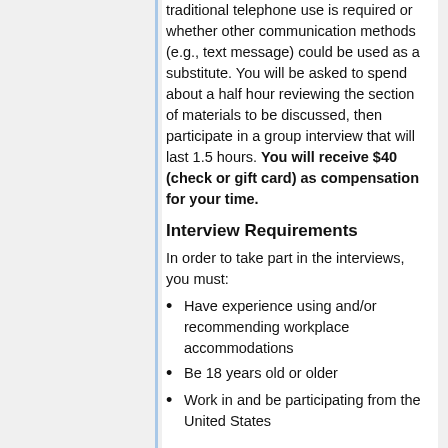traditional telephone use is required or whether other communication methods (e.g., text message) could be used as a substitute. You will be asked to spend about a half hour reviewing the section of materials to be discussed, then participate in a group interview that will last 1.5 hours. You will receive $40 (check or gift card) as compensation for your time.
Interview Requirements
In order to take part in the interviews, you must:
Have experience using and/or recommending workplace accommodations
Be 18 years old or older
Work in and be participating from the United States